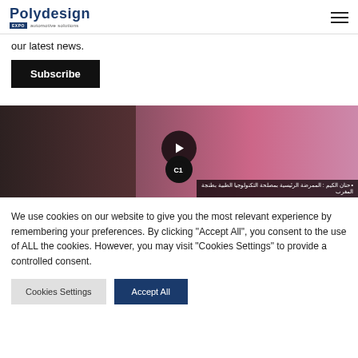Polydesign — EXPO automotive solutions
our latest news.
Subscribe
[Figure (screenshot): Video thumbnail showing a person in floral clothing with pink balloons in background, with a play button overlay, a circular logo bug, and Arabic text caption bar at the bottom.]
We use cookies on our website to give you the most relevant experience by remembering your preferences. By clicking "Accept All", you consent to the use of ALL the cookies. However, you may visit "Cookies Settings" to provide a controlled consent.
Cookies Settings
Accept All